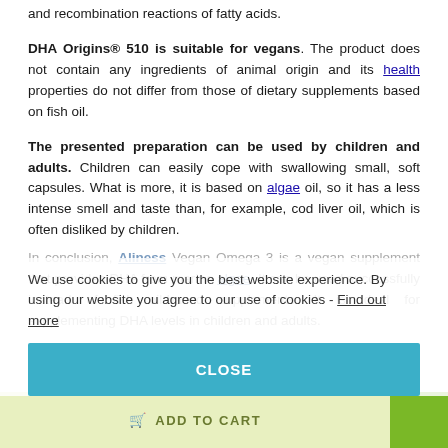and recombination reactions of fatty acids.
DHA Origins® 510 is suitable for vegans. The product does not contain any ingredients of animal origin and its health properties do not differ from those of dietary supplements based on fish oil.
The presented preparation can be used by children and adults. Children can easily cope with swallowing small, soft capsules. What is more, it is based on algae oil, so it has a less intense smell and taste than, for example, cod liver oil, which is often disliked by children.
In conclusion, Aliness Vegan Omega 3 is a vegan supplement that provides DHA from marine algae. It can be used successfully instead of fish oil-based supplements. It is ideal for supplementing DHA levels in children and adults.
We use cookies to give you the best website experience. By using our website you agree to our use of cookies - Find out more
CLOSE
ADD TO CART